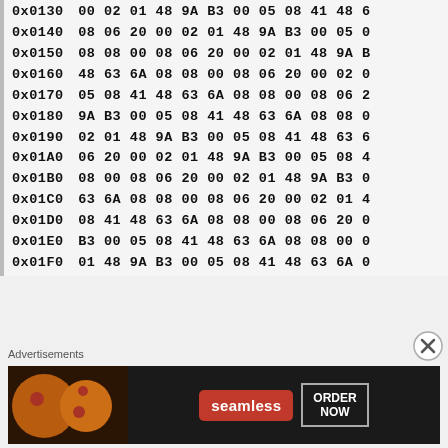| Address | 00 | 01 | 02 | 03 | 04 | 05 | 06 | 07 | 08 | 09 | 0A | 0B |
| --- | --- | --- | --- | --- | --- | --- | --- | --- | --- | --- | --- | --- |
| 0x0130 | 00 | 02 | 01 | 48 | 9A | B3 | 00 | 05 | 08 | 41 | 48 | 6… |
| 0x0140 | 08 | 06 | 20 | 00 | 02 | 01 | 48 | 9A | B3 | 00 | 05 | 0… |
| 0x0150 | 08 | 08 | 00 | 08 | 06 | 20 | 00 | 02 | 01 | 48 | 9A | B… |
| 0x0160 | 48 | 63 | 6A | 08 | 08 | 00 | 08 | 06 | 20 | 00 | 02 | 0… |
| 0x0170 | 05 | 08 | 41 | 48 | 63 | 6A | 08 | 08 | 00 | 08 | 06 | 2… |
| 0x0180 | 9A | B3 | 00 | 05 | 08 | 41 | 48 | 63 | 6A | 08 | 08 | 0… |
| 0x0190 | 02 | 01 | 48 | 9A | B3 | 00 | 05 | 08 | 41 | 48 | 63 | 6… |
| 0x01A0 | 06 | 20 | 00 | 02 | 01 | 48 | 9A | B3 | 00 | 05 | 08 | 4… |
| 0x01B0 | 08 | 00 | 08 | 06 | 20 | 00 | 02 | 01 | 48 | 9A | B3 | 0… |
| 0x01C0 | 63 | 6A | 08 | 08 | 00 | 08 | 06 | 20 | 00 | 02 | 01 | 4… |
| 0x01D0 | 08 | 41 | 48 | 63 | 6A | 08 | 08 | 00 | 08 | 06 | 20 | 0… |
| 0x01E0 | B3 | 00 | 05 | 08 | 41 | 48 | 63 | 6A | 08 | 08 | 00 | 0… |
| 0x01F0 | 01 | 48 | 9A | B3 | 00 | 05 | 08 | 41 | 48 | 63 | 6A | 0… |
Advertisements
[Figure (advertisement): Seamless food delivery advertisement with pizza image, red Seamless logo, and ORDER NOW button]